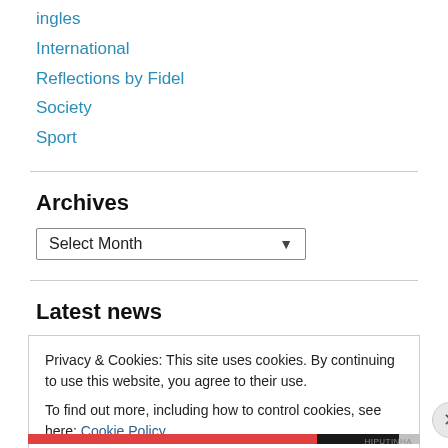ingles
International
Reflections by Fidel
Society
Sport
Archives
Select Month
Latest news
Privacy & Cookies: This site uses cookies. By continuing to use this website, you agree to their use.
To find out more, including how to control cookies, see here: Cookie Policy
Close and accept